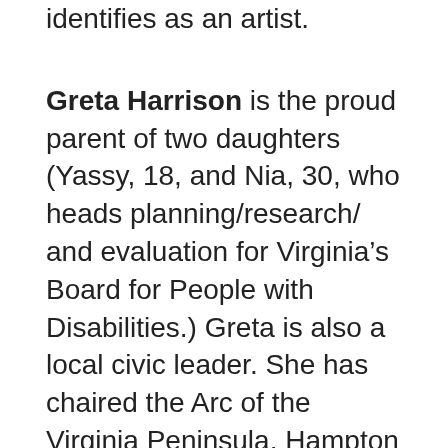identifies as an artist.
Greta Harrison is the proud parent of two daughters (Yassy, 18, and Nia, 30, who heads planning/research/ and evaluation for Virginia’s Board for People with Disabilities.) Greta is also a local civic leader. She has chaired the Arc of the Virginia Peninsula, Hampton City Schools Special Education Advisory Committee and the Community Services Board Family Advisory Committee. She led the work team that brought the first Virginia Project SEARCH site to Sentara in Hampton and continues on its Business Advisory Council. Greta